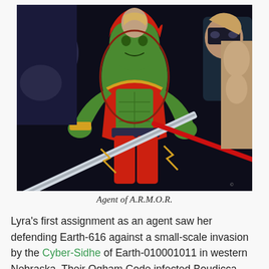[Figure (illustration): Comic book illustration showing a green-skinned female superhero (Lyra) in a red and gold costume, surrounded by multiple characters including armored and masked fighters. The central figure has red hair and muscular build, holding weapons. Dark, dynamic comic art style.]
Agent of A.R.M.O.R.
Lyra's first assignment as an agent saw her defending Earth-616 against a small-scale invasion by the Cyber-Sidhe of Earth-010001011 in western Nebraska. Their Ogham Code infected Boudicca, temporarily turning her